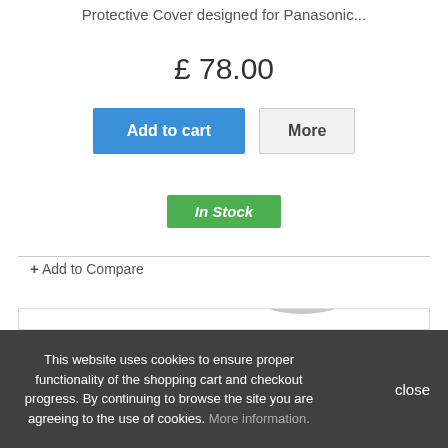Protective Cover designed for Panasonic...
£ 78.00
Add to cart | More
In Stock
+ Add to Compare
[Figure (photo): Person holding a video camera up to their face, shown in greyscale/light gray tones]
This website uses cookies to ensure proper functionality of the shopping cart and checkout progress. By continuing to browse the site you are agreeing to the use of cookies. More information.   close